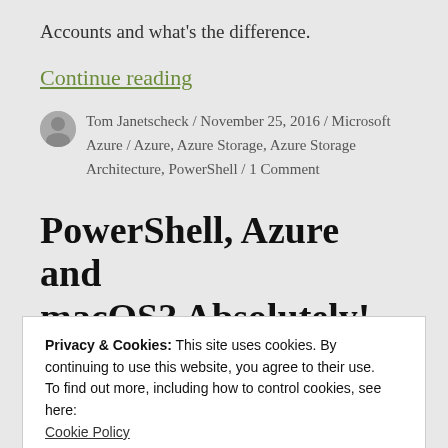Accounts and what's the difference.
Continue reading
Tom Janetscheck / November 25, 2016 / Microsoft Azure / Azure, Azure Storage, Azure Storage Architecture, PowerShell / 1 Comment
PowerShell, Azure and macOS? Absolutely!
Privacy & Cookies: This site uses cookies. By continuing to use this website, you agree to their use.
To find out more, including how to control cookies, see here:
Cookie Policy
Close and accept
PowerShell to your Azure environment